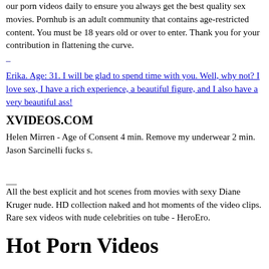our porn videos daily to ensure you always get the best quality sex movies. Pornhub is an adult community that contains age-restricted content. You must be 18 years old or over to enter. Thank you for your contribution in flattening the curve.
–
Erika. Age: 31. I will be glad to spend time with you. Well, why not? I love sex, I have a rich experience, a beautiful figure, and I also have a very beautiful ass!
XVIDEOS.COM
Helen Mirren - Age of Consent 4 min. Remove my underwear 2 min. Jason Sarcinelli fucks s.
–
All the best explicit and hot scenes from movies with sexy Diane Kruger nude. HD collection naked and hot moments of the video clips. Rare sex videos with nude celebrities on tube - HeroEro.
Hot Porn Videos